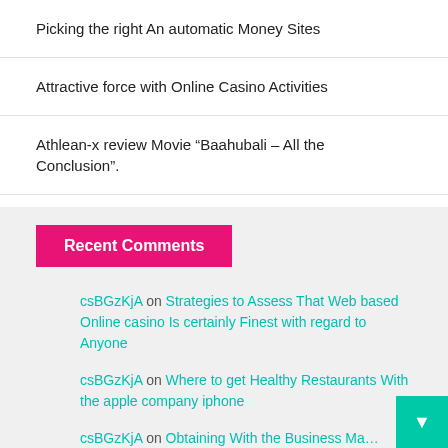Picking the right An automatic Money Sites
Attractive force with Online Casino Activities
Athlean-x review Movie “Baahubali – All the Conclusion”.
Recent Comments
csBGzKjA on Strategies to Assess That Web based Online casino Is certainly Finest with regard to Anyone
csBGzKjA on Where to get Healthy Restaurants With the apple company iphone
csBGzKjA on Obtaining With the Business Ma... That you saw